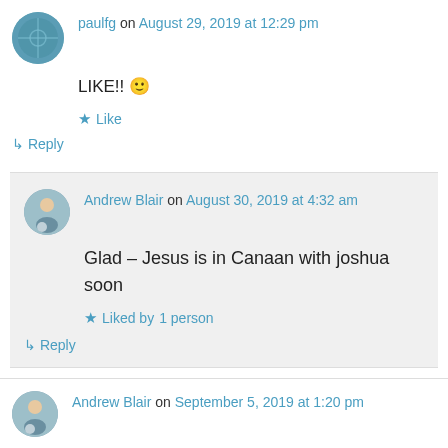paulfg on August 29, 2019 at 12:29 pm
LIKE!! 🙂
★ Like
↳ Reply
Andrew Blair on August 30, 2019 at 4:32 am
Glad – Jesus is in Canaan with joshua soon
★ Liked by 1 person
↳ Reply
Andrew Blair on September 5, 2019 at 1:20 pm